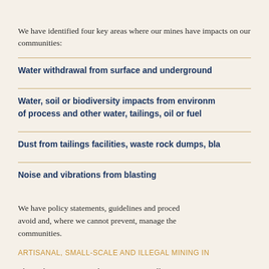We have identified four key areas where our mines have impacts on our communities:
Water withdrawal from surface and underground
Water, soil or biodiversity impacts from environmental release of process and other water, tailings, oil or fuel
Dust from tailings facilities, waste rock dumps, bla...
Noise and vibrations from blasting
We have policy statements, guidelines and procedures to avoid and, where we cannot prevent, manage these impacts on communities.
ARTISANAL, SMALL-SCALE AND ILLEGAL MINING IN
The Tarkwa-Nsuaem and Prestea- Huni Valley mu...